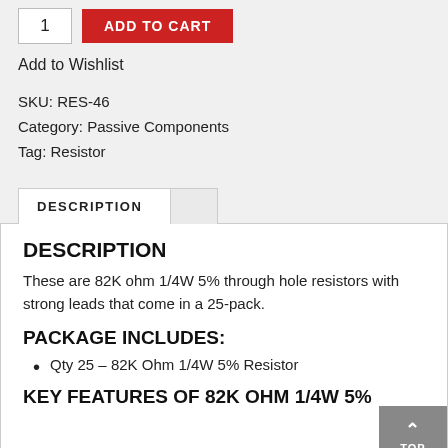ADD TO CART
Add to Wishlist
SKU: RES-46
Category: Passive Components
Tag: Resistor
DESCRIPTION
DESCRIPTION
These are 82K ohm 1/4W 5% through hole resistors with strong leads that come in a 25-pack.
PACKAGE INCLUDES:
Qty 25 – 82K Ohm 1/4W 5% Resistor
KEY FEATURES OF 82K OHM 1/4W 5%